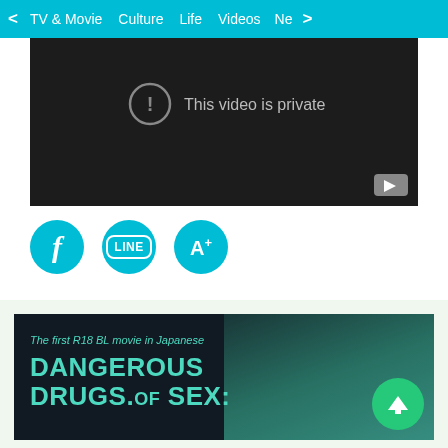< TV & Movie  Culture  Life  Videos  Ne >
[Figure (screenshot): Dark video player showing 'This video is private' message with exclamation icon and YouTube play button in bottom right corner.]
[Figure (infographic): Three teal circular social sharing buttons: Facebook (f), LINE chat bubble, and A+ font size button.]
[Figure (screenshot): Promotional image for 'Dangerous Drugs of Sex' movie with text 'The first R18 BL movie in Japanese' on dark teal background with a person visible on right side.]